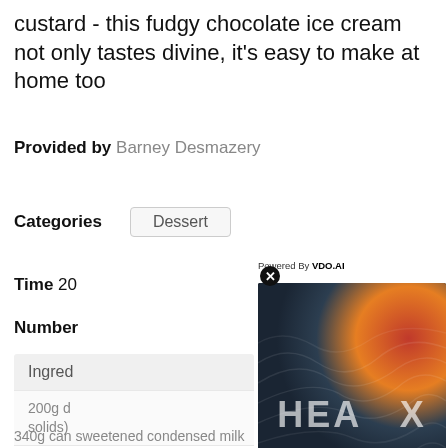custard - this fudgy chocolate ice cream not only tastes divine, it's easy to make at home too
Provided by Barney Desmazery
Categories   Dessert
Time 20
Number
[Figure (screenshot): Video player overlay showing 'No compatible source was found for this media.' with HEA X branding and topographic background gradient. Powered By VDO.AI label and close button visible.]
Ingredients
200g d... solids)
500ml
340g can sweetened condensed milk